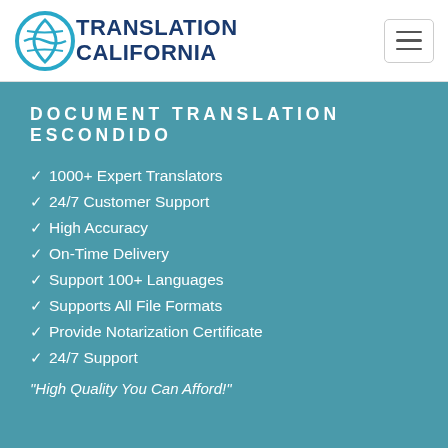Translation California
DOCUMENT TRANSLATION ESCONDIDO
1000+ Expert Translators
24/7 Customer Support
High Accuracy
On-Time Delivery
Support 100+ Languages
Supports All File Formats
Provide Notarization Certificate
24/7 Support
"High Quality You Can Afford!"